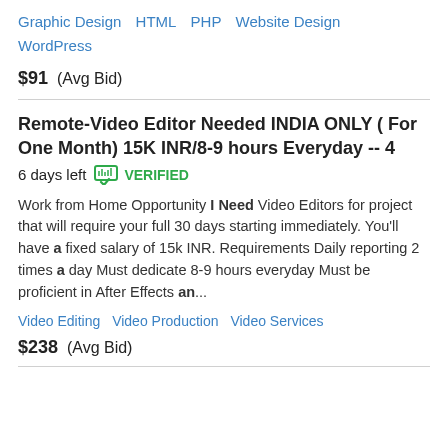Graphic Design  HTML  PHP  Website Design  WordPress
$91  (Avg Bid)
Remote-Video Editor Needed INDIA ONLY ( For One Month) 15K INR/8-9 hours Everyday -- 4  6 days left  VERIFIED
Work from Home Opportunity I Need Video Editors for project that will require your full 30 days starting immediately. You'll have a fixed salary of 15k INR. Requirements Daily reporting 2 times a day Must dedicate 8-9 hours everyday Must be proficient in After Effects an...
Video Editing  Video Production  Video Services
$238  (Avg Bid)